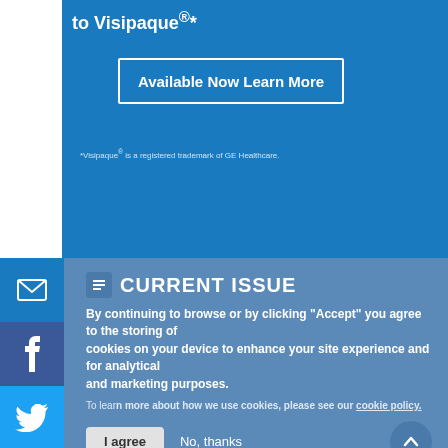to Visipaque®*
Available Now Learn More
*Visipaque® is a registered trademark of GE Healthcare.
IMPORTANT SAFETY INFORMATION AND INDICATION
WARNING: NOT FOR INTRATHECAL USE
See full prescribing information for complete boxed warning
Inadvertent intrathecal administration may cause death, convulsions/seizures, cerebral hemorrhage, coma, paralysis, arachnoiditis, acute renal failure, cardiac arrest, rhabdomyolysis, hyperthermia, and brain edema.
INDICATIONS AND USAGE
Iodixanol injection is a radiographic contrast agent indicated for the following
FULL PRESCRIBING INFORMATION INCLUDING BOXED WARNING
CURRENT ISSUE
By continuing to browse or by clicking "Accept" you agree to the storing of cookies on your device to enhance your site experience and for analytical and marketing purposes.
To learn more about how we use cookies, please see our cookie policy.
I agree    No, thanks